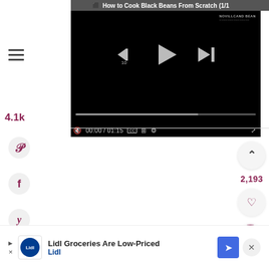[Figure (screenshot): Video player showing a black video frame with playback controls: rewind 10s, play, skip-next buttons, a progress bar, mute, timecode 00:00 / 01:15, CC, grid, settings, and fullscreen icons. Watermark reads 'NOVEILLCAND BEAN' in top right.]
[Figure (screenshot): Mobile webpage UI with hamburger menu, 4.1k view count, Pinterest, Facebook and Yummly social share buttons on left sidebar; upvote (2,193), heart, and search buttons on right sidebar; Lidl advertisement banner at bottom.]